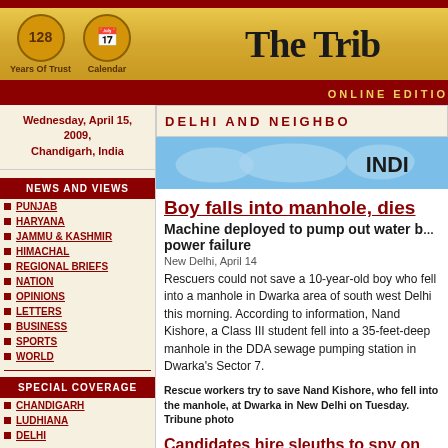The Tribune — Online Edition
Wednesday, April 15, 2009, Chandigarh, India
DELHI AND NEIGHBOURHOOD
NEWS AND VIEWS
PUNJAB
HARYANA
JAMMU & KASHMIR
HIMACHAL
REGIONAL BRIEFS
NATION
OPINIONS
LETTERS
BUSINESS
SPORTS
WORLD
SPECIAL COVERAGE
CHANDIGARH
LUDHIANA
DELHI
Boy falls into manhole, dies
Machine deployed to pump out water but rescue hampered by power failure
New Delhi, April 14
Rescuers could not save a 10-year-old boy who fell into a manhole in Dwarka area of south west Delhi this morning. According to information, Nand Kishore, a Class III student fell into a 35-feet-deep manhole in the DDA sewage pumping station in Dwarka's Sector 7.
Rescue workers try to save Nand Kishore, who fell into the manhole, at Dwarka in New Delhi on Tuesday. Tribune photo
Candidates hire sleuths to spy on 'friends', rivals